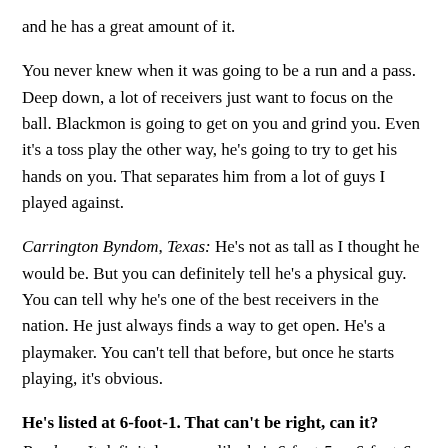and he has a great amount of it.
You never knew when it was going to be a run and a pass. Deep down, a lot of receivers just want to focus on the ball. Blackmon is going to get on you and grind you. Even it's a toss play the other way, he's going to try to get his hands on you. That separates him from a lot of guys I played against.
Carrington Byndom, Texas: He's not as tall as I thought he would be. But you can definitely tell he's a physical guy. You can tell why he's one of the best receivers in the nation. He just always finds a way to get open. He's a playmaker. You can't tell that before, but once he starts playing, it's obvious.
He's listed at 6-foot-1. That can't be right, can it?
Byndom: It definitely seems like he's 6-foot-5 or 6-foot-6 — going up and getting passes, using his body to shield off defenders. He uses that frame really well.
Malone: It seems like he's a lot bigger than 6-foot-1. I think 6-